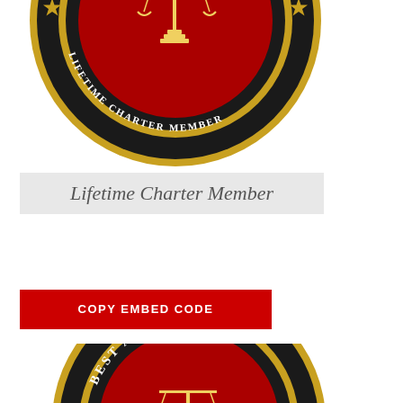[Figure (logo): Circular seal badge for Best Attorneys of America - Lifetime Charter Member. Black outer ring with gold border and stars, red inner circle with gold scales of justice and book symbol, text reading OF AMERICA and LIFETIME CHARTER MEMBER around the ring.]
Lifetime Charter Member
<a href="https://www.bestattorneysofar
[Figure (illustration): Red button/badge labeled COPY EMBED CODE]
[Figure (logo): Partial circular seal badge for Best Attorneys of America visible from top, showing black outer ring with gold border, stars, red inner circle, and partial text reading BEST ATTORNEY.]